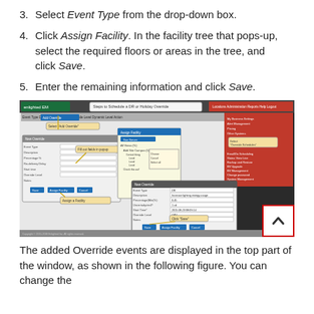3. Select Event Type from the drop-down box.
4. Click Assign Facility. In the facility tree that pops-up, select the required floors or areas in the tree, and click Save.
5. Enter the remaining information and click Save.
[Figure (screenshot): Screenshot showing steps to schedule a DR or Holiday Override in the Enlighted EM system, with callouts for 'Select Add Override', 'Fill out fields in popup', 'Assign a Facility', and 'Click Save'.]
The added Override events are displayed in the top part of the window, as shown in the following figure. You can change the